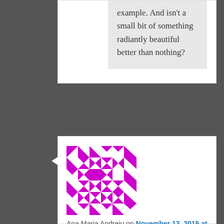example. And isn't a small bit of something radiantly beautiful better than nothing?
[Figure (illustration): Purple and white geometric/mosaic avatar icon for user Ana Maria Andreiu]
Ana Maria Andreiu on November 13, 2015 at 2:41 am
said:
Well my darling as usual you are exceptional! I loved this piece, and I find your views as being logical and balanced. I'm very rarely if ever moaning about prices. If I love something and I can afford it I will buy it. If I love something and I can't afford it I might save up to buy it or then again I mightn't. I'd love to be financially rich but I'm not and don't envy the ones who are. I've long